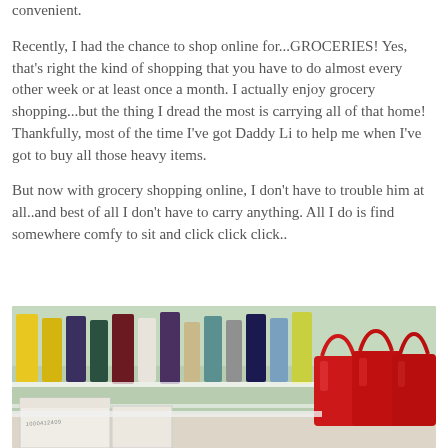convenient.
Recently, I had the chance to shop online for...GROCERIES! Yes, that's right the kind of shopping that you have to do almost every other week or at least once a month. I actually enjoy grocery shopping...but the thing I dread the most is carrying all of that home! Thankfully, most of the time I've got Daddy Li to help me when I've got to buy all those heavy items.
But now with grocery shopping online, I don't have to trouble him at all..and best of all I don't have to carry anything. All I do is find somewhere comfy to sit and click click click..
[Figure (photo): Photo of colorful shopping bags with handles sticking up in a row, alongside red plastic carrier bags, sitting on a shelf or trolley with boxes in the foreground]